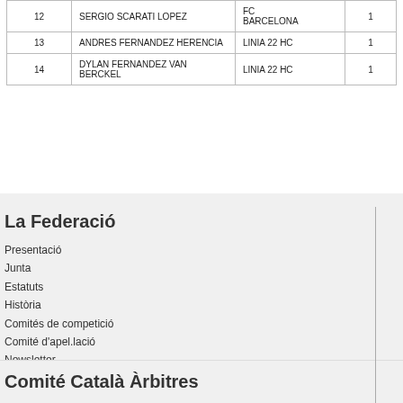| # | Name | Club | Points |
| --- | --- | --- | --- |
| 12 | SERGIO SCARATI LOPEZ | FC BARCELONA | 1 |
| 13 | ANDRES FERNANDEZ HERENCIA | LINIA 22 HC | 1 |
| 14 | DYLAN FERNANDEZ VAN BERCKEL | LINIA 22 HC | 1 |
La Federació
Presentació
Junta
Estatuts
Història
Comités de competició
Comité d'apel.lació
Newsletter
Comité Català Àrbitres